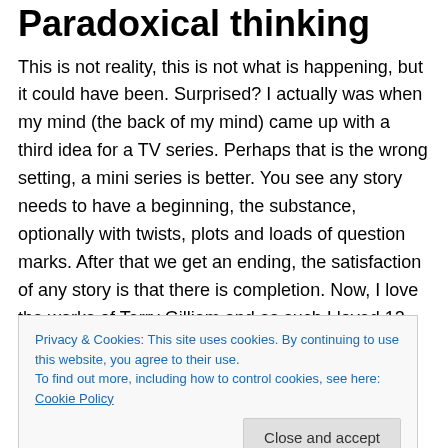Paradoxical thinking
This is not reality, this is not what is happening, but it could have been. Surprised? I actually was when my mind (the back of my mind) came up with a third idea for a TV series. Perhaps that is the wrong setting, a mini series is better. You see any story needs to have a beginning, the substance, optionally with twists, plots and loads of question marks. After that we get an ending, the satisfaction of any story is that there is completion. Now, I love the works of Terry Gilliam and as such I loved 12 monkeys and Brazil, they leave question marks. It is not a
Privacy & Cookies: This site uses cookies. By continuing to use this website, you agree to their use.
To find out more, including how to control cookies, see here: Cookie Policy
their own epilogue in this. If a story draws in the person